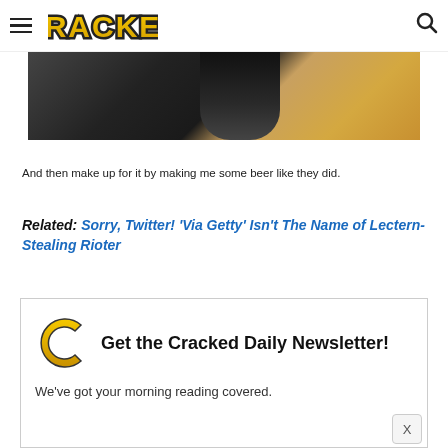CRACKED
[Figure (photo): Partial photo showing a dark-haired figure against tiled background]
And then make up for it by making me some beer like they did.
Related: Sorry, Twitter! 'Via Getty' Isn't The Name of Lectern-Stealing Rioter
Get the Cracked Daily Newsletter! We've got your morning reading covered.